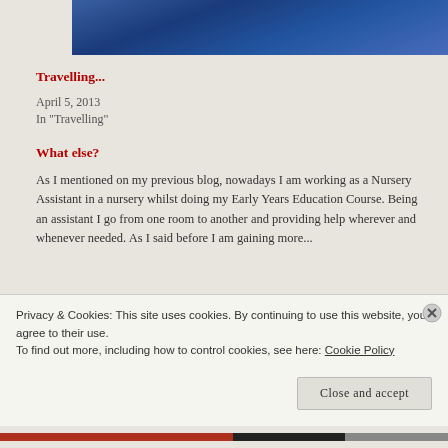[Figure (photo): Blue gradient hero image at the top of the page, representing a travel scene with blue sky/landscape tones.]
Travelling...
April 5, 2013
In "Travelling"
What else?
As I mentioned on my previous blog, nowadays I am working as a Nursery Assistant in a nursery whilst doing my Early Years Education Course. Being an assistant I go from one room to another and providing help wherever and whenever needed. As I said before I am gaining more...
Privacy & Cookies: This site uses cookies. By continuing to use this website, you agree to their use.
To find out more, including how to control cookies, see here: Cookie Policy
Close and accept